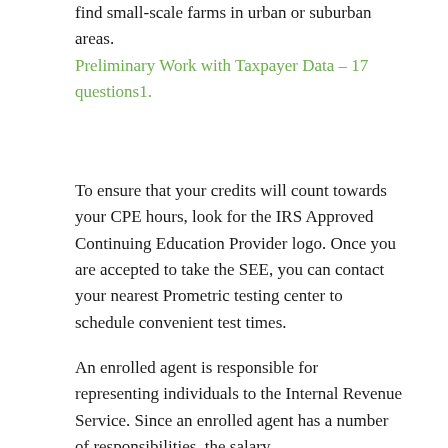find small-scale farms in urban or suburban areas.
Preliminary Work with Taxpayer Data – 17 questions1.
To ensure that your credits will count towards your CPE hours, look for the IRS Approved Continuing Education Provider logo. Once you are accepted to take the SEE, you can contact your nearest Prometric testing center to schedule convenient test times.
An enrolled agent is responsible for representing individuals to the Internal Revenue Service. Since an enrolled agent has a number of responsibilities, the salary